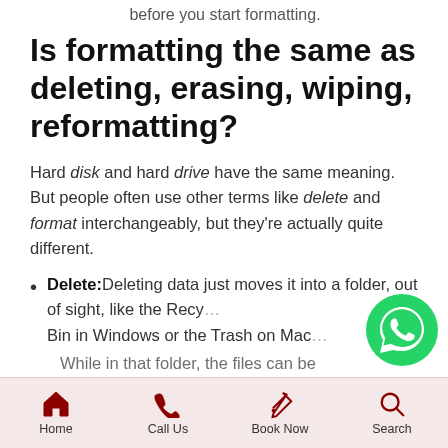before you start formatting.
Is formatting the same as deleting, erasing, wiping, reformatting?
Hard disk and hard drive have the same meaning. But people often use other terms like delete and format interchangeably, but they're actually quite different.
Delete: Deleting data just moves it into a folder, out of sight, like the Recycle Bin in Windows or the Trash on Mac. While in that folder, the files can be
[Figure (logo): WhatsApp green circular logo button]
Home  Call Us  Book Now  Search